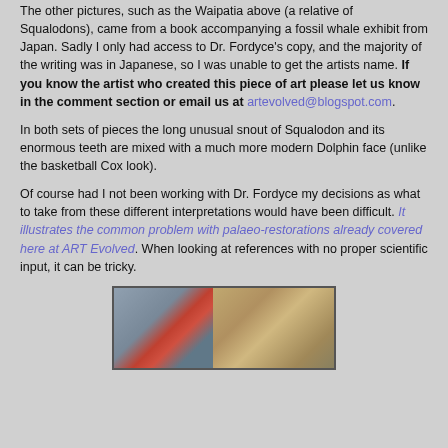The other pictures, such as the Waipatia above (a relative of Squalodons), came from a book accompanying a fossil whale exhibit from Japan. Sadly I only had access to Dr. Fordyce's copy, and the majority of the writing was in Japanese, so I was unable to get the artists name. If you know the artist who created this piece of art please let us know in the comment section or email us at artevolved@blogspot.com.
In both sets of pieces the long unusual snout of Squalodon and its enormous teeth are mixed with a much more modern Dolphin face (unlike the basketball Cox look).
Of course had I not been working with Dr. Fordyce my decisions as what to take from these different interpretations would have been difficult. It illustrates the common problem with palaeo-restorations already covered here at ART Evolved. When looking at references with no proper scientific input, it can be tricky.
[Figure (photo): Photograph showing what appears to be a laboratory or museum setting with equipment and a fossil or specimen]